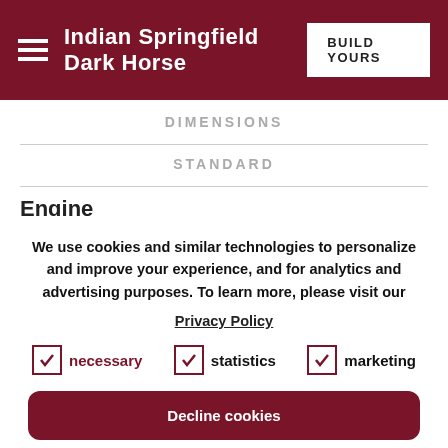Indian Springfield Dark Horse | BUILD YOURS
DIMENSIONS
STANDARD
Engine
We use cookies and similar technologies to personalize and improve your experience, and for analytics and advertising purposes. To learn more, please visit our Privacy Policy
necessary (checked)
statistics (checked)
marketing (checked)
Decline cookies
Accept cookies